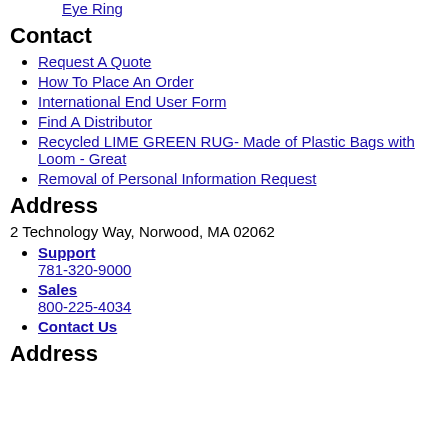Eye Ring
Contact
Request A Quote
How To Place An Order
International End User Form
Find A Distributor
Recycled LIME GREEN RUG- Made of Plastic Bags with Loom - Great
Removal of Personal Information Request
Address
2 Technology Way, Norwood, MA 02062
Support 781-320-9000
Sales 800-225-4034
Contact Us
Address